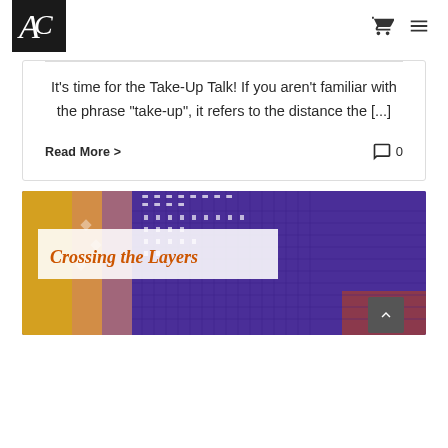AC logo, cart icon, menu icon
It's time for the Take-Up Talk! If you aren't familiar with the phrase "take-up", it refers to the distance the [...]
Read More >
0
[Figure (photo): Close-up woven textile fabric in purple, orange/yellow, and white colors. Overlaid title card reads 'Crossing the Layers' in orange italic text on white background.]